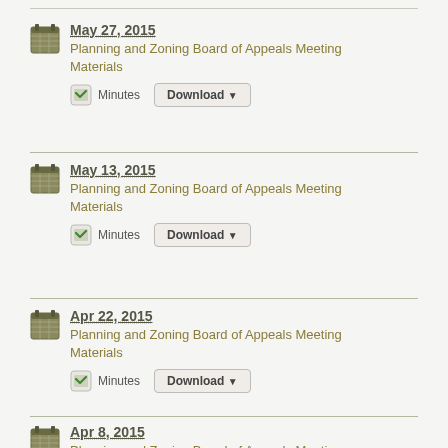May 27, 2015 — Planning and Zoning Board of Appeals Meeting Materials — Minutes (Download)
May 13, 2015 — Planning and Zoning Board of Appeals Meeting Materials — Minutes (Download)
Apr 22, 2015 — Planning and Zoning Board of Appeals Meeting Materials — Minutes (Download)
Apr 8, 2015 — Planning and Zoning Board of Appeals Meeting